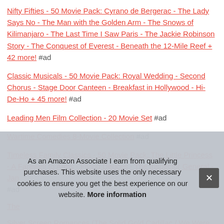Nifty Fifties - 50 Movie Pack: Cyrano de Bergerac - The Lady Says No - The Man with the Golden Arm - The Snows of Kilimanjaro - The Last Time I Saw Paris - The Jackie Robinson Story - The Conquest of Everest - Beneath the 12-Mile Reef + 42 more! #ad
Classic Musicals - 50 Movie Pack: Royal Wedding - Second Chorus - Stage Door Canteen - Breakfast in Hollywood - Hi-De-Ho + 45 more! #ad
Leading Men Film Collection - 20 Movie Set #ad
Wartime Comedies 8-Movie Collection #ad
Timeless Family Classics - 50 Movie Pack: The Little Princess - A Farewell to Arms - Flying Deuces - The Inspector General - Jan... #ad
The...
Silver Screen Romances (The Solid Gold Cadillac / We Were...
As an Amazon Associate I earn from qualifying purchases. This website uses the only necessary cookies to ensure you get the best experience on our website. More information